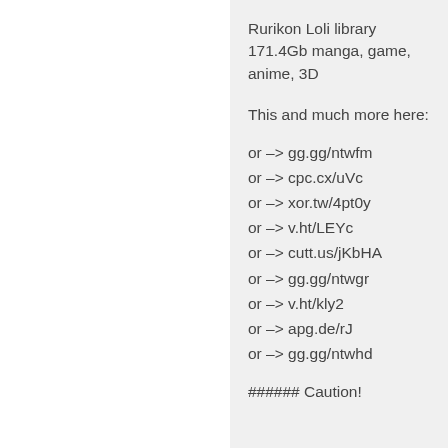Rurikon Loli library 171.4Gb manga, game, anime, 3D
This and much more here:
or –> gg.gg/ntwfm
or –> cpc.cx/uVc
or –> xor.tw/4pt0y
or –> v.ht/LEYc
or –> cutt.us/jKbHA
or –> gg.gg/ntwgr
or –> v.ht/kly2
or –> apg.de/rJ
or –> gg.gg/ntwhd
###### Caution!